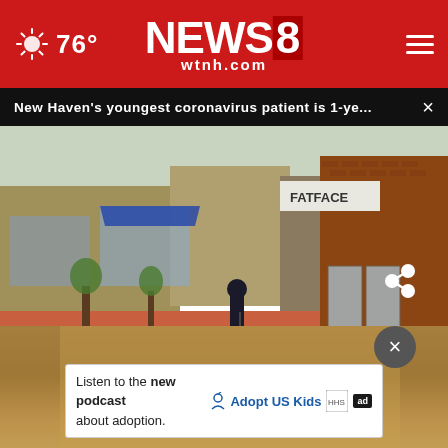76° NEWS 8 wtnh.com
New Haven's youngest coronavirus patient is 1-ye... ×
[Figure (screenshot): Street scene showing a sidewalk with storefronts including Fatface, a person pushing a stroller, with a news chyron overlay reading 'CORONAVIRUS OUTBREAK - 241 CASES IN NEW HAVEN' and a NEWS 8 logo with time 8:01, 53°, wtnh.com]
Listen to the new podcast about adoption.
[Figure (logo): Adopt US Kids logo with figure icon, HHS logo, and ad badge]